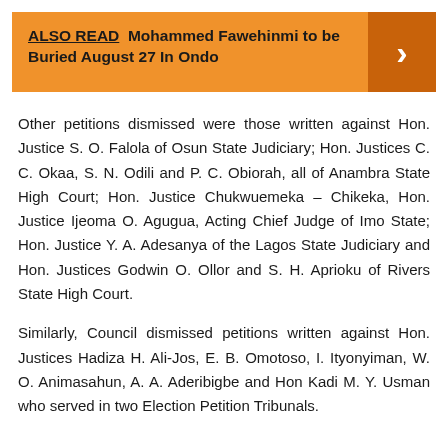[Figure (infographic): Orange 'ALSO READ' banner with text 'Mohammed Fawehinmi to be Buried August 27 In Ondo' and a right-arrow chevron on a darker orange background]
Other petitions dismissed were those written against Hon. Justice S. O. Falola of Osun State Judiciary; Hon. Justices C. C. Okaa, S. N. Odili and P. C. Obiorah, all of Anambra State High Court; Hon. Justice Chukwuemeka – Chikeka, Hon. Justice Ijeoma O. Agugua, Acting Chief Judge of Imo State; Hon. Justice Y. A. Adesanya of the Lagos State Judiciary and Hon. Justices Godwin O. Ollor and S. H. Aprioku of Rivers State High Court.
Similarly, Council dismissed petitions written against Hon. Justices Hadiza H. Ali-Jos, E. B. Omotoso, I. Ityonyiman, W. O. Animasahun, A. A. Aderibigbe and Hon Kadi M. Y. Usman who served in two Election Petition Tribunals.